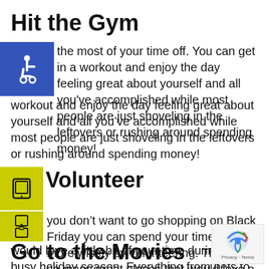Hit the Gym
[Figure (illustration): Blue accessibility icon square overlapping text]
the most of your time off. You can get in a workout and enjoy the day feeling great about yourself and all you've accomplished while most people are just shoveling in the leftovers or rushing around spending money!
[Figure (illustration): Yellow square with phone icon]
Volunteer
[Figure (illustration): Yellow squares with mobile phone and clipboard icons]
you don't want to go shopping on Black Friday you can spend your time a little more wisely by volunteering. There are so many great places that would love a little bit of your time during this busy holiday season. Everything from pets to needy seniors!
Go to the Movies
[Figure (illustration): reCAPTCHA privacy badge with Privacy · Terms]